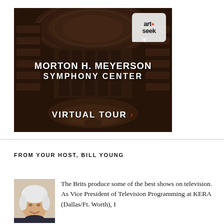[Figure (photo): Morton H. Meyerson Symphony Center concert hall interior with dark overlay, ArtSeek logo in top right corner, text 'MORTON H. MEYERSON SYMPHONY CENTER' and 'VIRTUAL TOUR >' overlaid on image]
FROM YOUR HOST, BILL YOUNG
[Figure (photo): Headshot photo of Bill Young, a man with white/gray hair, smiling]
The Brits produce some of the best shows on television. As Vice President of Television Programming at KERA (Dallas/Ft. Worth), I